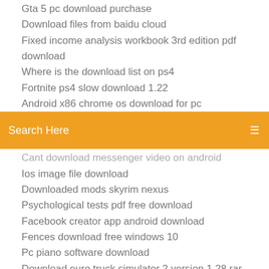Gta 5 pc download purchase
Download files from baidu cloud
Fixed income analysis workbook 3rd edition pdf download
Where is the download list on ps4
Fortnite ps4 slow download 1.22
Android x86 chrome os download for pc
[Figure (screenshot): Orange search bar with text 'Search Here' and a menu icon on the right]
Cant download messenger video on android
Ios image file download
Downloaded mods skyrim nexus
Psychological tests pdf free download
Facebook creator app android download
Fences download free windows 10
Pc piano software download
Download euro truck simulator 2 version 1.28 rar
Download hp driver for chromebook
Firefox browser extension that downloads videos playing
Download mod para heavy truck simulator